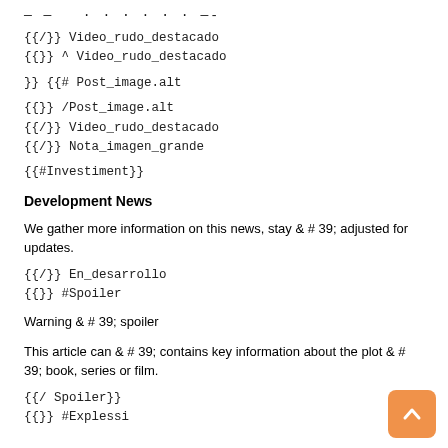— — · · · · · · —  —
{{/}} Video_rudo_destacado
{{}} ^ Video_rudo_destacado
}} {{# Post_image.alt
{{}} /Post_image.alt
{{/}} Video_rudo_destacado
{{/}} Nota_imagen_grande
{{#Investiment}}
Development News
We gather more information on this news, stay & # 39; adjusted for updates.
{{/}} En_desarrollo
{{}} #Spoiler
Warning & # 39; spoiler
This article can & # 39; contains key information about the plot & # 39; book, series or film.
{{/ Spoiler}}
{{}} #Explessi